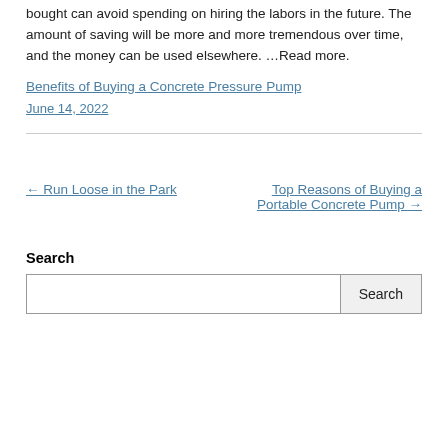bought can avoid spending on hiring the labors in the future. The amount of saving will be more and more tremendous over time, and the money can be used elsewhere. …Read more.
Benefits of Buying a Concrete Pressure Pump
June 14, 2022
← Run Loose in the Park
Top Reasons of Buying a Portable Concrete Pump →
Search